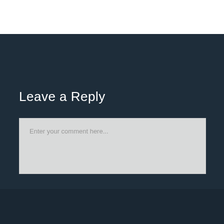Leave a Reply
Enter your comment here...
FORUM LOGIN